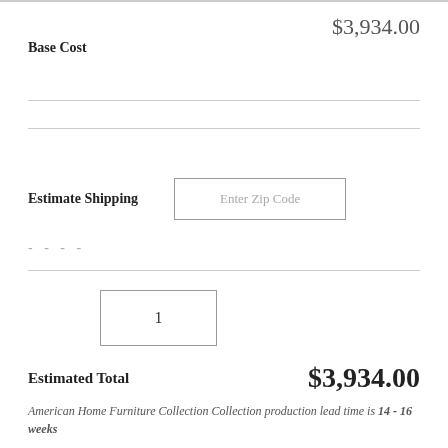$3,934.00
Base Cost
Estimate Shipping
Enter Zip Code
- - - -
1
Estimated Total
$3,934.00
American Home Furniture Collection Collection production lead time is 14 - 16 weeks